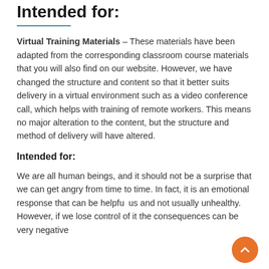Intended for:
Virtual Training Materials – These materials have been adapted from the corresponding classroom course materials that you will also find on our website. However, we have changed the structure and content so that it better suits delivery in a virtual environment such as a video conference call, which helps with training of remote workers. This means no major alteration to the content, but the structure and method of delivery will have altered.
Intended for:
We are all human beings, and it should not be a surprise that we can get angry from time to time. In fact, it is an emotional response that can be helpful us and not usually unhealthy. However, if we lose control of it the consequences can be very negative